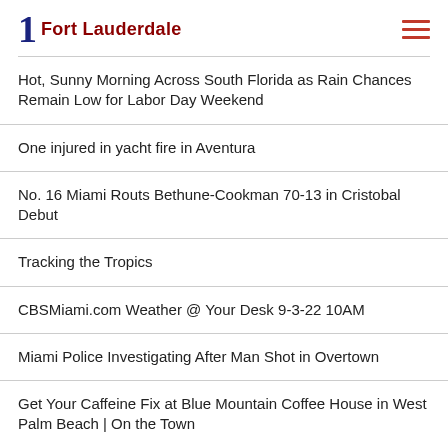1 Fort Lauderdale
Hot, Sunny Morning Across South Florida as Rain Chances Remain Low for Labor Day Weekend
One injured in yacht fire in Aventura
No. 16 Miami Routs Bethune-Cookman 70-13 in Cristobal Debut
Tracking the Tropics
CBSMiami.com Weather @ Your Desk 9-3-22 10AM
Miami Police Investigating After Man Shot in Overtown
Get Your Caffeine Fix at Blue Mountain Coffee House in West Palm Beach | On the Town